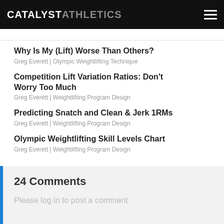CATALYST ATHLETICS
Why Is My (Lift) Worse Than Others?
Greg Everett | Olympic Weightlifting Technique
Competition Lift Variation Ratios: Don't Worry Too Much
Greg Everett | Weightlifting Program Design
Predicting Snatch and Clean & Jerk 1RMs
Greg Everett | Weightlifting Program Design
Olympic Weightlifting Skill Levels Chart
Greg Everett | Weightlifting Program Design
24 Comments
Please log in to post a comment